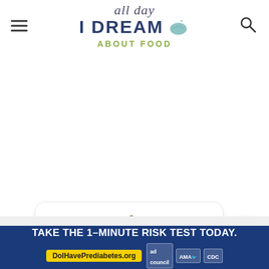all day I DREAM ABOUT FOOD
[Figure (photo): Strawberries on a white background inside a rounded card element]
[Figure (other): Heart/favorite button — white circle with teal heart icon]
[Figure (other): Advertisement banner: TAKE THE 1-MINUTE RISK TEST TODAY. DoIHavePrediabetes.org with ad council, AMA, and CDC logos]